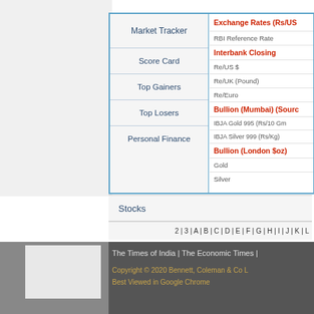Market Tracker
Score Card
Top Gainers
Top Losers
Personal Finance
Exchange Rates (Rs/US
RBI Reference Rate
Interbank Closing
Re/US $
Re/UK (Pound)
Re/Euro
Bullion (Mumbai) (Sourc
IBJA Gold 995 (Rs/10 Gm
IBJA Silver 999 (Rs/Kg)
Bullion (London $oz)
Gold
Silver
Stocks
2 | 3 | A | B | C | D | E | F | G | H | I | J | K | L
The Times of India | The Economic Times | Copyright © 2020 Bennett, Coleman & Co L Best Viewed in Google Chrome